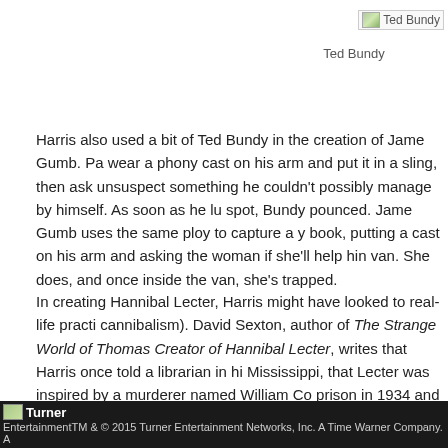[Figure (photo): Broken image placeholder labeled 'Ted Bundy']
Ted Bundy
Harris also used a bit of Ted Bundy in the creation of Jame Gumb. Pa wear a phony cast on his arm and put it in a sling, then ask unsuspect something he couldn't possibly manage by himself. As soon as he lu spot, Bundy pounced. Jame Gumb uses the same ploy to capture a y book, putting a cast on his arm and asking the woman if she'll help hin van. She does, and once inside the van, she's trapped.
In creating Hannibal Lecter, Harris might have looked to real-life practi cannibalism). David Sexton, author of The Strange World of Thomas Creator of Hannibal Lecter, writes that Harris once told a librarian in hi Mississippi, that Lecter was inspired by a murderer named William Co prison in 1934 and gone on a rampage in Cleveland that included acts Coyne's exploits were the stuff of local legend when Harris was growin the seed for Lecter in the author's mind. Sexton also suggests Welsh murdered and eviscerated a cellmate in Cardiff prison, mistaking his s another possible model for Lecter.
EntertainmentTM & © 2015 Turner Entertainment Networks, Inc. A Time Warner Company. A